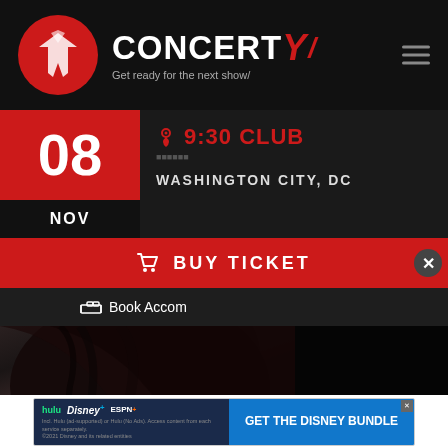[Figure (logo): Concerty website header with circular red logo icon and CONCERTY brand name with tagline 'Get ready for the next show']
08
NOV
9:30 CLUB
WASHINGTON CITY, DC
BUY TICKET
Book Accom
[Figure (photo): Partial view of a person with dark hair, close-up shot, dark background]
[Figure (infographic): Disney Bundle advertisement showing Hulu, Disney+, and ESPN+ logos with 'GET THE DISNEY BUNDLE' call to action. Fine print: 'Incl. Hulu (ad-supported) or Hulu (No Ads). Access content from each service separately. ©2021 Disney and its related entities']